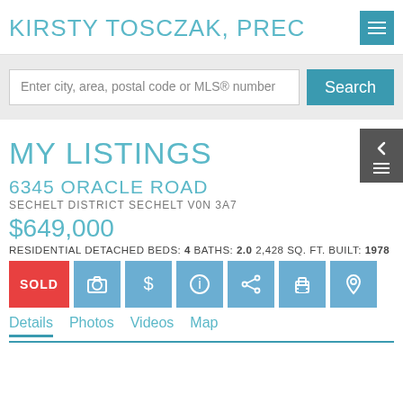KIRSTY TOSCZAK, PREC
Enter city, area, postal code or MLS® number
MY LISTINGS
6345 ORACLE ROAD
SECHELT DISTRICT SECHELT V0N 3A7
$649,000
RESIDENTIAL DETACHED BEDS: 4 BATHS: 2.0 2,428 SQ. FT. BUILT: 1978
SOLD
Details  Photos  Videos  Map